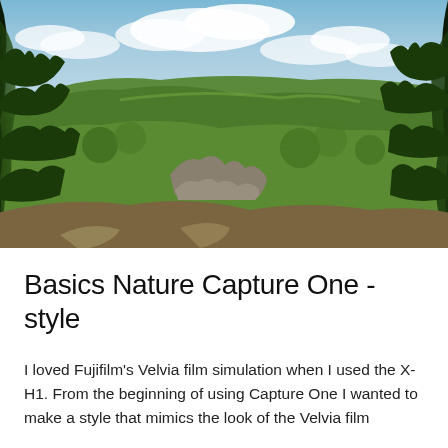[Figure (photo): Aerial or elevated panoramic photograph of a lush green forested hillside with rocky outcrops, taken from above the tree canopy. Blue sky with white clouds in the upper portion. Dense green deciduous trees covering a large hill or ridge. Some bare rocky terrain visible in the foreground. Distant horizon with possible water or flat land visible.]
Basics Nature Capture One -style
I loved Fujifilm's Velvia film simulation when I used the X-H1. From the beginning of using Capture One I wanted to make a style that mimics the look of the Velvia film